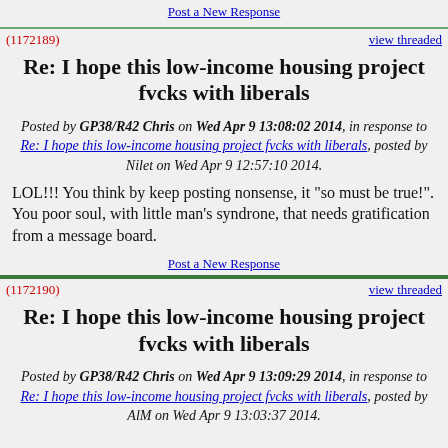Post a New Response
(1172189)
view threaded
Re: I hope this low-income housing project fvcks with liberals
Posted by GP38/R42 Chris on Wed Apr 9 13:08:02 2014, in response to Re: I hope this low-income housing project fvcks with liberals, posted by Nilet on Wed Apr 9 12:57:10 2014.
LOL!!! You think by keep posting nonsense, it "so must be true!". You poor soul, with little man's syndrone, that needs gratification from a message board.
Post a New Response
(1172190)
view threaded
Re: I hope this low-income housing project fvcks with liberals
Posted by GP38/R42 Chris on Wed Apr 9 13:09:29 2014, in response to Re: I hope this low-income housing project fvcks with liberals, posted by AlM on Wed Apr 9 13:03:37 2014.